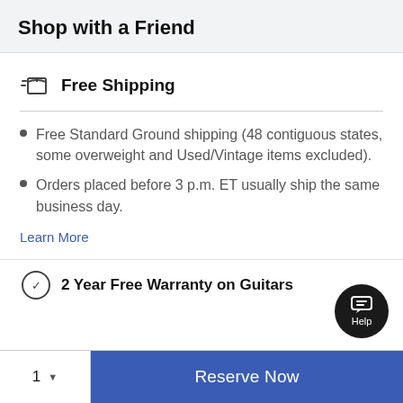Shop with a Friend
Free Shipping
Free Standard Ground shipping (48 contiguous states, some overweight and Used/Vintage items excluded).
Orders placed before 3 p.m. ET usually ship the same business day.
Learn More
2 Year Free Warranty on Guitars
Reserve Now